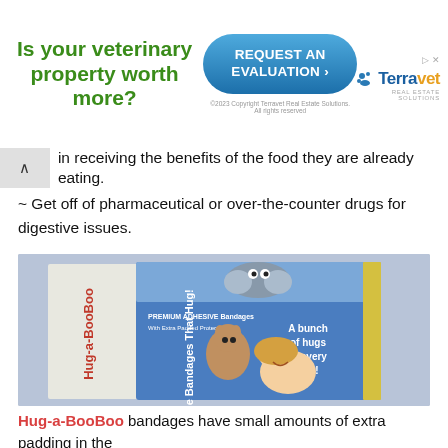[Figure (infographic): Terravet Real Estate Solutions advertisement banner: green bold text 'Is your veterinary property worth more?', blue rounded button 'REQUEST AN EVALUATION', Terravet logo with paw icon, copyright notice.]
in receiving the benefits of the food they are already eating.
~ Get off of pharmaceutical or over-the-counter drugs for digestive issues.
[Figure (photo): Box of Hug-a-BooBoo bandages. Blue box with cartoon hippo on top strip. Text on box: 'Hug-a-BooBoo', 'PREMIUM ADHESIVE Bandages', 'With Extra Padded Protection', 'The Bandages That Hug!', 'A bunch of hugs in every box!'. Shows a smiling woman and child on box.]
Hug-a-BooBoo bandages have small amounts of extra padding in the